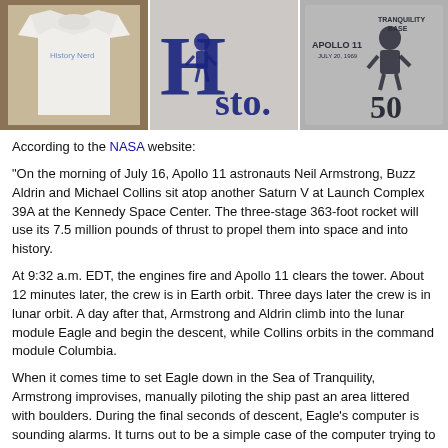[Figure (photo): Three photos of Apollo 11 / History Nerd themed t-shirts. Left: white t-shirt laid flat showing 'History Nerd' text. Center: close-up of shirt showing large 'H' and 'sto.' text with astronaut graphic. Right: close-up of gray shirt showing 'Apollo 11 July 20, 1969' and 'Tranquility Base' text with astronaut graphic and the number 50.]
According to the NASA website:
"On the morning of July 16, Apollo 11 astronauts Neil Armstrong, Buzz Aldrin and Michael Collins sit atop another Saturn V at Launch Complex 39A at the Kennedy Space Center. The three-stage 363-foot rocket will use its 7.5 million pounds of thrust to propel them into space and into history.
At 9:32 a.m. EDT, the engines fire and Apollo 11 clears the tower. About 12 minutes later, the crew is in Earth orbit. Three days later the crew is in lunar orbit. A day after that, Armstrong and Aldrin climb into the lunar module Eagle and begin the descent, while Collins orbits in the command module Columbia.
When it comes time to set Eagle down in the Sea of Tranquility, Armstrong improvises, manually piloting the ship past an area littered with boulders. During the final seconds of descent, Eagle's computer is sounding alarms. It turns out to be a simple case of the computer trying to do too many things at once, but as Aldrin will later point out, "unfortunately it came up when we did not want to be trying to solve these particular problems."